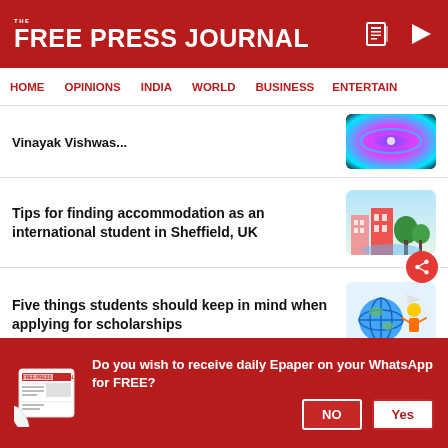THE FREE PRESS JOURNAL
HOME | OPINIONS | INDIA | WORLD | BUSINESS | ENTERTAIN
Vinayak Vishwas...
Tips for finding accommodation as an international student in Sheffield, UK
Five things students should keep in mind when applying for scholarships
China bound Indian students worry despite visas being resumed
Do you wish to receive daily Epaper on your WhatsApp for FREE?